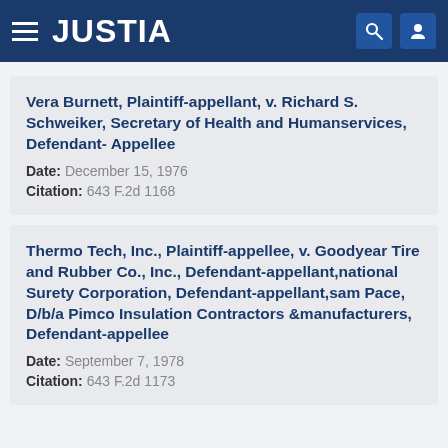JUSTIA
Vera Burnett, Plaintiff-appellant, v. Richard S. Schweiker, Secretary of Health and Humanservices, Defendant- Appellee
Date: December 15, 1976
Citation: 643 F.2d 1168
Thermo Tech, Inc., Plaintiff-appellee, v. Goodyear Tire and Rubber Co., Inc., Defendant-appellant,national Surety Corporation, Defendant-appellant,sam Pace, D/b/a Pimco Insulation Contractors &manufacturers, Defendant-appellee
Date: September 7, 1978
Citation: 643 F.2d 1173